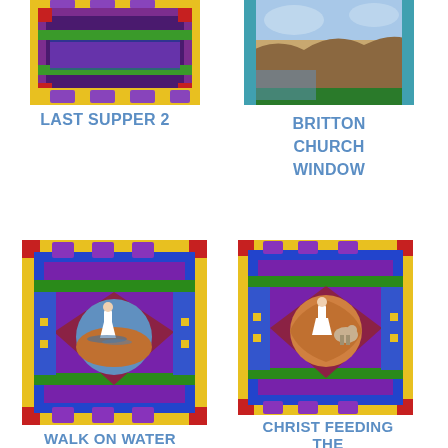[Figure (illustration): Partial top view of a stained glass artwork - Last Supper 2, showing colorful stained glass panels with purple, green, yellow, red borders]
[Figure (illustration): Partial top view of a stained glass artwork - Britton Church Window, showing blue sky and landscape scene with teal and blue framing]
LAST SUPPER 2
BRITTON CHURCH WINDOW
[Figure (illustration): Full stained glass artwork - Walk on Water 2, showing Jesus walking on water in an oval scene surrounded by colorful geometric stained glass borders in purple, green, blue, yellow, red]
[Figure (illustration): Full stained glass artwork - Christ Feeding the Multitudes 2, showing Christ with sheep/people in oval scene surrounded by colorful geometric stained glass borders]
WALK ON WATER 2
CHRIST FEEDING THE MULTITUDES 2